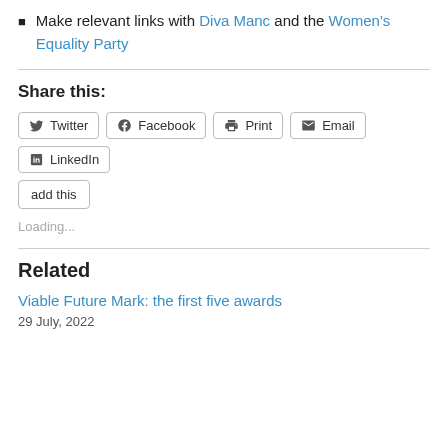Make relevant links with Diva Manc and the Women's Equality Party
Share this:
Twitter  Facebook  Print  Email  LinkedIn  add this
Loading...
Related
Viable Future Mark: the first five awards
29 July, 2022